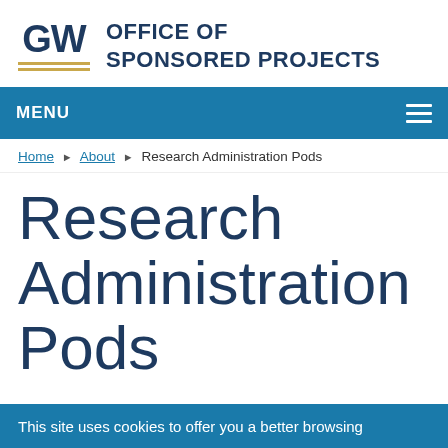[Figure (logo): GW Office of Sponsored Projects logo with GW initials in dark navy, two gold horizontal lines, and text 'OFFICE OF SPONSORED PROJECTS' in dark navy]
MENU
Home ► About ► Research Administration Pods
Research Administration Pods
This site uses cookies to offer you a better browsing